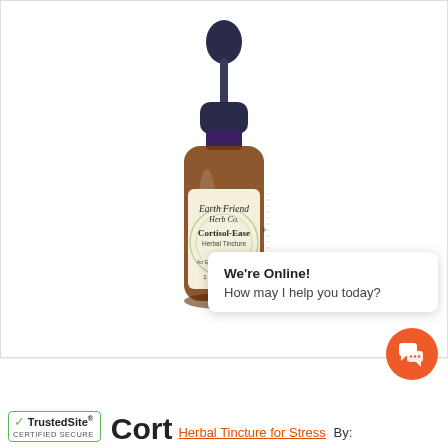[Figure (photo): Product photo of Earth Friend Herb Co. Cortisol-Ease Herbal Tincture dropper bottle (amber glass, 1 fl oz / 30 ml) with a dark blue dropper cap, shown against a white background inside a light-bordered box.]
[Figure (screenshot): Live chat popup widget showing 'We're Online! How may I help you today?' with an orange circular chat button icon overlaid in the lower right of the page.]
Cort   Herbal Tincture for Stress  By: